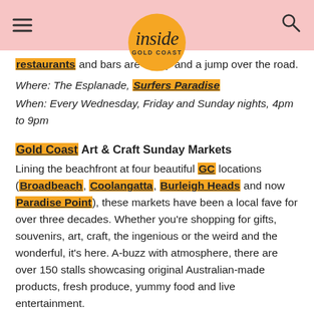inside GOLD COAST
restaurants and bars are a skip and a jump over the road.
Where: The Esplanade, Surfers Paradise
When: Every Wednesday, Friday and Sunday nights, 4pm to 9pm
Gold Coast Art & Craft Sunday Markets
Lining the beachfront at four beautiful GC locations (Broadbeach, Coolangatta, Burleigh Heads and now Paradise Point), these markets have been a local fave for over three decades. Whether you're shopping for gifts, souvenirs, art, craft, the ingenious or the weird and the wonderful, it's here. A-buzz with atmosphere, there are over 150 stalls showcasing original Australian-made products, fresh produce, yummy food and live entertainment.
Where & When: Kurrawa Park – The first and third Sunday